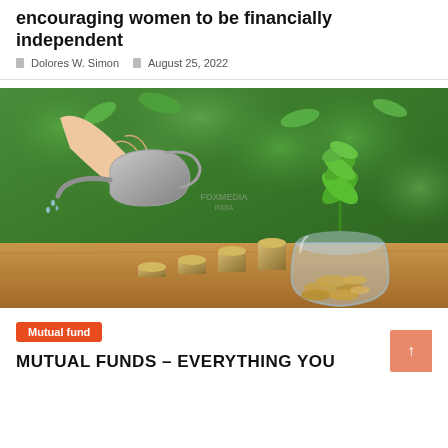encouraging women to be financially independent
Dolores W. Simon   August 25, 2022
[Figure (photo): A hand holding a small watering can pouring over stacks of coins and a glass jar filled with coins, with a green plant growing out of the jar. Background is green bokeh foliage on a wooden surface, symbolizing financial growth.]
Mutual fund
MUTUAL FUNDS – EVERYTHING YOU